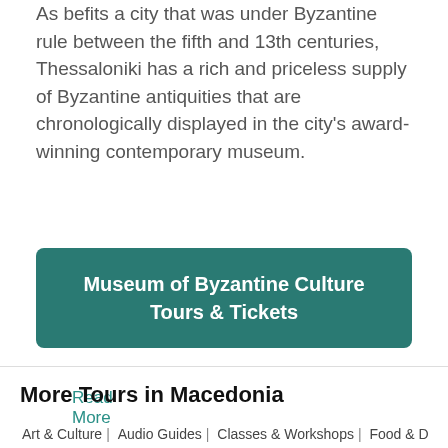As befits a city that was under Byzantine rule between the fifth and 13th centuries, Thessaloniki has a rich and priceless supply of Byzantine antiquities that are chronologically displayed in the city's award-winning contemporary museum.
Read More
Museum of Byzantine Culture Tours & Tickets
More Tours in Macedonia
Art & Culture | Audio Guides | Classes & Workshops | Food & Drink |